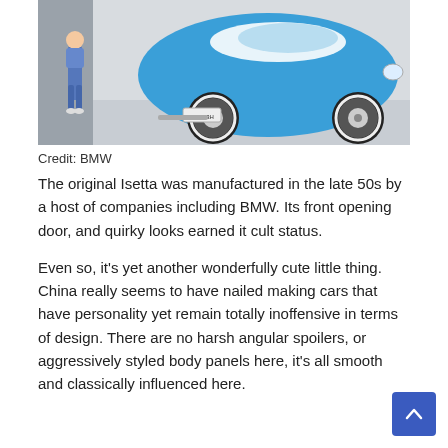[Figure (photo): A blue BMW Isetta microcar photographed from a rear-three-quarter angle, with a child standing beside it for scale. The background is light grey/white.]
Credit: BMW
The original Isetta was manufactured in the late 50s by a host of companies including BMW. Its front opening door, and quirky looks earned it cult status.
Even so, it's yet another wonderfully cute little thing. China really seems to have nailed making cars that have personality yet remain totally inoffensive in terms of design. There are no harsh angular spoilers, or aggressively styled body panels here, it's all smooth and classically influenced here.